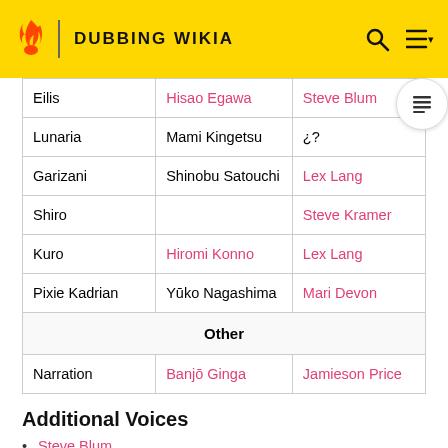DUBBING WIKIA
| Character | Japanese | English |
| --- | --- | --- |
| Eilis | Hisao Egawa | Steve Blum |
| Lunaria | Mami Kingetsu | ¿? |
| Garizani | Shinobu Satouchi | Lex Lang |
| Shiro |  | Steve Kramer |
| Kuro | Hiromi Konno | Lex Lang |
| Pixie Kadrian | Yūko Nagashima | Mari Devon |
| Other |  |  |
| Narration | Banjō Ginga | Jamieson Price |
Additional Voices
Steve Blum